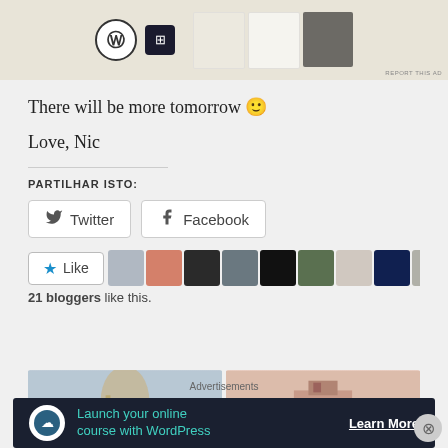[Figure (screenshot): Top advertisement banner showing WordPress and Squarespace logos with web design mockup images]
There will be more tomorrow 🙂
Love, Nic
Partilhar isto:
[Figure (screenshot): Twitter and Facebook share buttons]
[Figure (screenshot): Like button with star icon and blogger avatars row]
21 bloggers like this.
[Figure (photo): Two thumbnail images side by side - left shows a deer statue against sky, right shows a building with pink/terracotta tones]
Advertisements
[Figure (screenshot): Dark advertisement banner: Launch your online course with WordPress — Learn More]